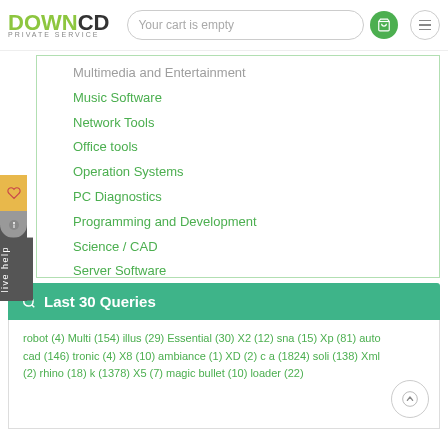DOWNCD PRIVATE SERVICE — Your cart is empty
Multimedia and Entertainment
Music Software
Network Tools
Office tools
Operation Systems
PC Diagnostics
Programming and Development
Science / CAD
Server Software
Software plugins
System tools
Training software
Other
Last 30 Queries
robot (4) Multi (154) illus (29) Essential (30) X2 (12) sna (15) Xp (81) auto cad (146) tronic (4) X8 (10) ambiance (1) XD (2) c a (1824) soli (138) Xml (2) rhino (18) k (1378) X5 (7) magic bullet (10) loader (22)